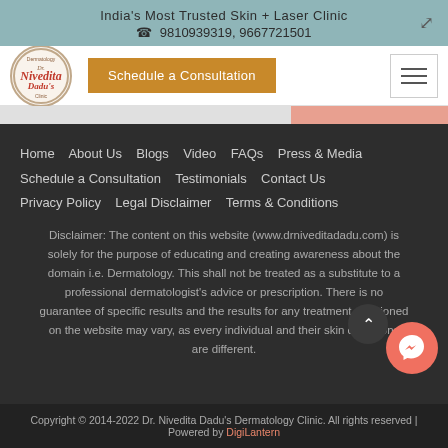India's Most Trusted Skin + Laser Clinic
☎ 9810939319, 9667721501
[Figure (logo): Dr. Nivedita Dadu's Dermatology Clinic circular logo]
Schedule a Consultation
Home   About Us   Blogs   Video   FAQs   Press & Media   Schedule a Consultation   Testimonials   Contact Us   Privacy Policy   Legal Disclaimer   Terms & Conditions
Disclaimer: The content on this website (www.drniveditadadu.com) is solely for the purpose of educating and creating awareness about the domain i.e. Dermatology. This shall not be treated as a substitute to a professional dermatologist's advice or prescription. There is no guarantee of specific results and the results for any treatment mentioned on the website may vary, as every individual and their skin conditions are different.
Copyright © 2014-2022 Dr. Nivedita Dadu's Dermatology Clinic. All rights reserved | Powered by DigiLantern